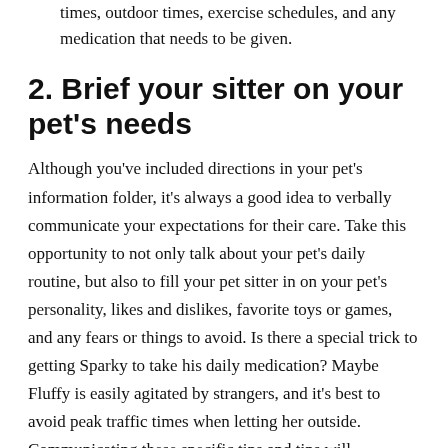times, outdoor times, exercise schedules, and any medication that needs to be given.
2. Brief your sitter on your pet's needs
Although you've included directions in your pet's information folder, it's always a good idea to verbally communicate your expectations for their care. Take this opportunity to not only talk about your pet's daily routine, but also to fill your pet sitter in on your pet's personality, likes and dislikes, favorite toys or games, and any fears or things to avoid. Is there a special trick to getting Sparky to take his daily medication? Maybe Fluffy is easily agitated by strangers, and it's best to avoid peak traffic times when letting her outside. Communicating these specific tips and tips will